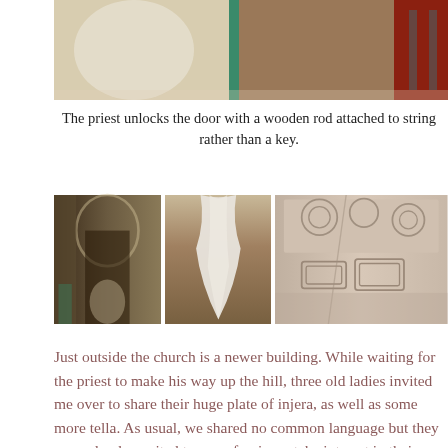[Figure (photo): Top portion of a photo showing a priest with a wooden rod near a door with red/brown wooden frame and teal bars]
The priest unlocks the door with a wooden rod attached to string rather than a key.
[Figure (photo): Three photos side by side: left shows a dark narrow church corridor with arched ceiling; middle shows a white/cream garment or cloth hanging; right shows carved stone interior walls and ceiling of a church with geometric patterns]
Just outside the church is a newer building. While waiting for the priest to make his way up the hill, three old ladies invited me over to share their huge plate of injera, as well as some more tella. As usual, we shared no common language but they were clearly excited to see a foreigner take interest in their local church and made every effort to make me